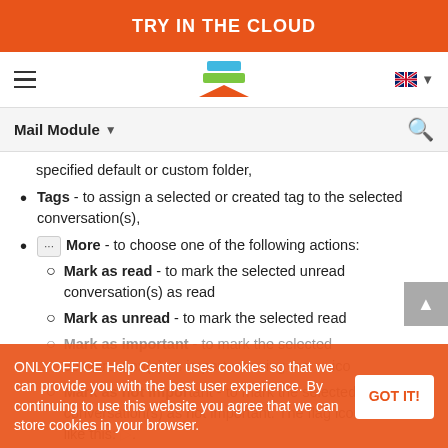TRY IN THE CLOUD
[Figure (logo): Navigation bar with hamburger menu, OnlyOffice stacked layers logo, and English language selector]
Mail Module
specified default or custom folder,
Tags - to assign a selected or created tag to the selected conversation(s),
More - to choose one of the following actions:
Mark as read - to mark the selected unread conversation(s) as read
Mark as unread - to mark the selected read conversation(s) as unread
Mark as important - to mark the selected conversation(s) as important using the icon
Mark as not important - to mark the selected important conversation(s) as not important. The flag icon will look like this:
ONLYOFFICE Help Center uses cookies so that we can provide you with the best user experience. By continuing to use this website you agree that we can store cookies in your browser.